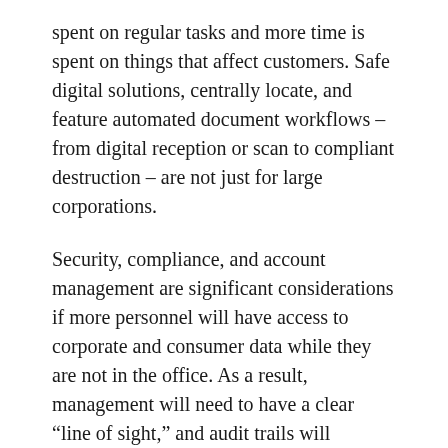spent on regular tasks and more time is spent on things that affect customers. Safe digital solutions, centrally locate, and feature automated document workflows – from digital reception or scan to compliant destruction – are not just for large corporations.
Security, compliance, and account management are significant considerations if more personnel will have access to corporate and consumer data while they are not in the office. As a result, management will need to have a clear “line of sight,” and audit trails will become even more crucial.
Furthermore, if a company wants to implement a digital strategy to boost operational effectiveness